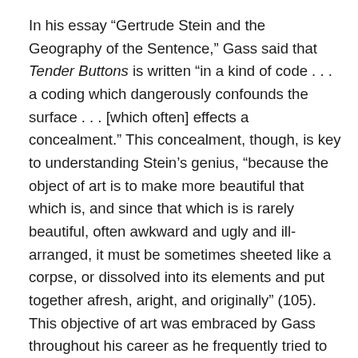In his essay “Gertrude Stein and the Geography of the Sentence,” Gass said that Tender Buttons is written “in a kind of code . . . a coding which dangerously confounds the surface . . . [which often] effects a concealment.” This concealment, though, is key to understanding Stein’s genius, “because the object of art is to make more beautiful that which is, and since that which is is rarely beautiful, often awkward and ugly and ill-arranged, it must be sometimes sheeted like a corpse, or dissolved into its elements and put together afresh, aright, and originally” (105). This objective of art was embraced by Gass throughout his career as he frequently tried to make the ugly beautiful via the beauty of his language. In The Tunnel, the centerpiece of oeuvre, for example, Gass wrote beautifully about the Holocaust, and attempted to redeem his deplorable first-person narrator through the